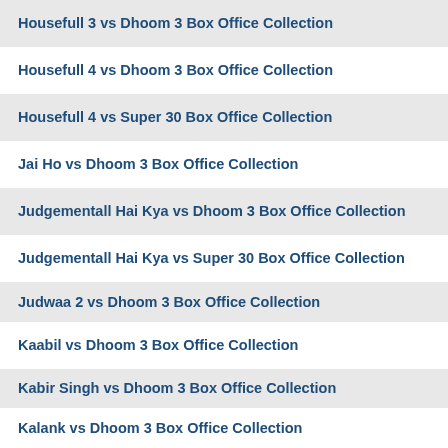Housefull 3 vs Dhoom 3 Box Office Collection
Housefull 4 vs Dhoom 3 Box Office Collection
Housefull 4 vs Super 30 Box Office Collection
Jai Ho vs Dhoom 3 Box Office Collection
Judgementall Hai Kya vs Dhoom 3 Box Office Collection
Judgementall Hai Kya vs Super 30 Box Office Collection
Judwaa 2 vs Dhoom 3 Box Office Collection
Kaabil vs Dhoom 3 Box Office Collection
Kabir Singh vs Dhoom 3 Box Office Collection
Kalank vs Dhoom 3 Box Office Collection